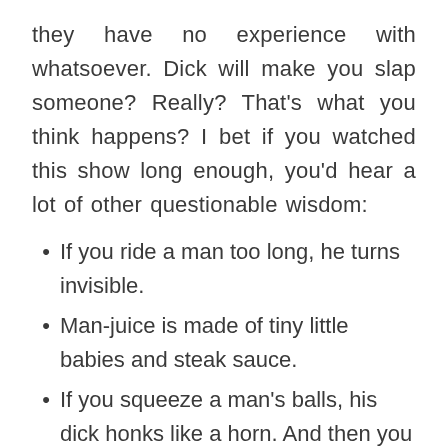they have no experience with whatsoever. Dick will make you slap someone? Really? That's what you think happens? I bet if you watched this show long enough, you'd hear a lot of other questionable wisdom:
If you ride a man too long, he turns invisible.
Man-juice is made of tiny little babies and steak sauce.
If you squeeze a man's balls, his dick honks like a horn. And then you have to slap someone.